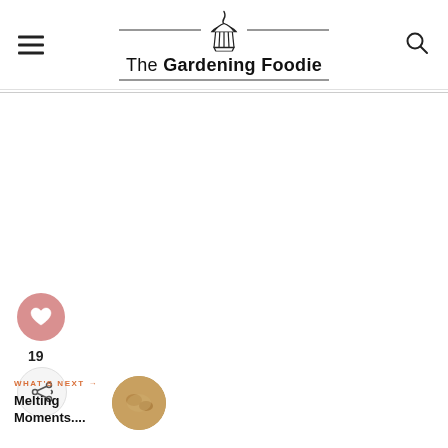The Gardening Foodie
[Figure (illustration): Heart/like button icon (pink circle with heart)]
19
[Figure (illustration): Share button icon (circle with share symbol)]
WHAT'S NEXT → Melting Moments....
[Figure (photo): Circular thumbnail of Melting Moments cookies]